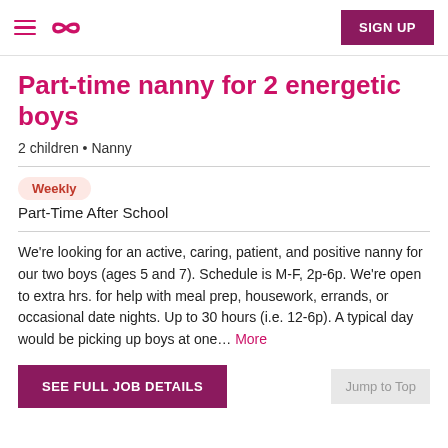Sittercity navigation — hamburger menu, infinity logo, SIGN UP button
Part-time nanny for 2 energetic boys
2 children • Nanny
Weekly
Part-Time After School
We're looking for an active, caring, patient, and positive nanny for our two boys (ages 5 and 7). Schedule is M-F, 2p-6p. We're open to extra hrs. for help with meal prep, housework, errands, or occasional date nights. Up to 30 hours (i.e. 12-6p). A typical day would be picking up boys at one... More
SEE FULL JOB DETAILS
Jump to Top